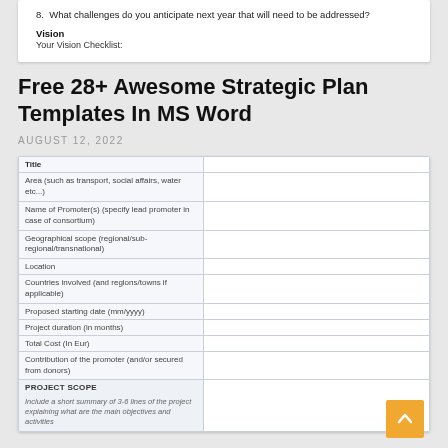8. What challenges do you anticipate next year that will need to be addressed?
Vision
Your Vision Checklist:
Free 28+ Awesome Strategic Plan Templates In MS Word
AUGUST 12, 2022
| Title |  |
| --- | --- |
| Area (such as transport, social affairs, water etc...) |  |
| Name of Promoter(s) (specify lead promoter in case of consortium) |  |
| Geographical scope (regional/sub-regional/transnational) |  |
| Location |  |
| Countries involved (and regions/towns if applicable) |  |
| Proposed starting date (mm/yyyy) |  |
| Project duration (in months) |  |
| Total Cost (in Eur) |  |
| Contribution of the promoter (and/or secured from donors) |  |
| PROJECT SCOPE
Include a short summary of 3-6 lines of the project explaining what are the main objectives and activities |  |